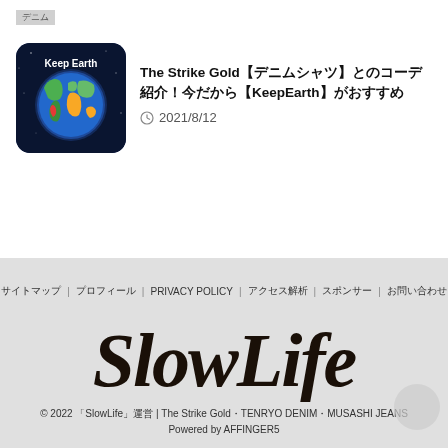[Figure (illustration): Keep Earth logo — dark blue circular background with a colorful world map showing continents in green, blue, red and yellow, with white text 'Keep Earth' at the top]
The Strike Gold【デニムシャツ】とのコーデ紹介！今だから【KeepEarth】がおすすめ
2021/8/12
サイトマップ | プロフィール | PRIVACY POLICY | アクセス解析 | スポンサー | お問い合わせ
[Figure (logo): SlowLife brand logo in dark brown cursive handwriting style script]
© 2022 「SlowLife」運営 | The Strike Gold・TENRYO DENIM・MUSASHI JEANS Powered by AFFINGER5